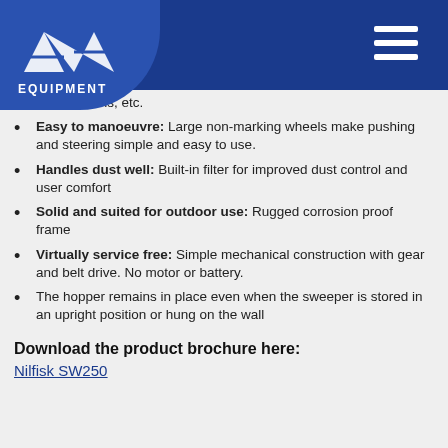[Figure (logo): AB Equipment logo on dark blue header with hamburger menu icon]
garbage bins, etc.
Easy to manoeuvre: Large non-marking wheels make pushing and steering simple and easy to use.
Handles dust well: Built-in filter for improved dust control and user comfort
Solid and suited for outdoor use: Rugged corrosion proof frame
Virtually service free: Simple mechanical construction with gear and belt drive. No motor or battery.
The hopper remains in place even when the sweeper is stored in an upright position or hung on the wall
Download the product brochure here:
Nilfisk SW250